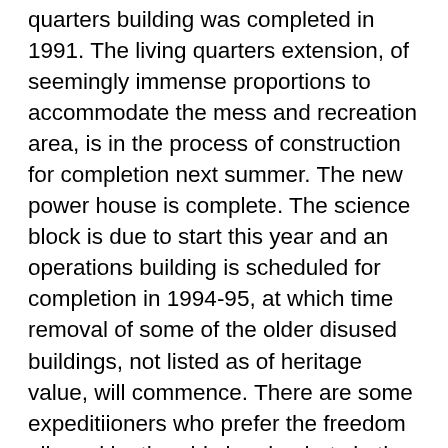quarters building was completed in 1991. The living quarters extension, of seemingly immense proportions to accommodate the mess and recreation area, is in the process of construction for completion next summer. The new power house is complete. The science block is due to start this year and an operations building is scheduled for completion in 1994-95, at which time removal of some of the older disused buildings, not listed as of heritage value, will commence. There are some expeditiioners who prefer the freedom allowed by the old sleeping huts in the western suburbs' (including the ability to open a window) and so they use these in preference to the new living quarters. Some of the internal partitions in the old dongas have been removed to provide space for lounges, studios and other requirements.